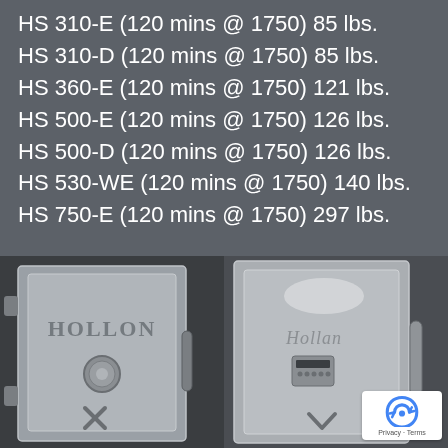HS 310-E (120 mins @ 1750) 85 lbs.
HS 310-D (120 mins @ 1750) 85 lbs.
HS 360-E (120 mins @ 1750) 121 lbs.
HS 500-E (120 mins @ 1750) 126 lbs.
HS 500-D (120 mins @ 1750) 126 lbs.
HS 530-WE (120 mins @ 1750) 140 lbs.
HS 750-E (120 mins @ 1750) 297 lbs.
[Figure (photo): Two Hollon brand safes side by side. Left safe shows the front with HOLLON logo embossed on the door, a combination dial lock, and handle. Right safe shows a silver safe with cursive Hollon logo, electronic keypad, and handle. A reCAPTCHA privacy badge is in the bottom right corner.]